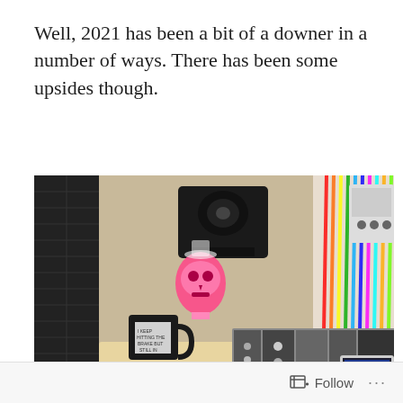Well, 2021 has been a bit of a downer in a number of ways. There has been some upsides though.
[Figure (photo): A home music studio setup showing a modular synthesizer rack, a David Bowie Fan Club box, a mug with text, a glowing pink skull lamp, a studio monitor speaker, patch cables, a tablet device, and acoustic foam panels on the wall. A black leather chair is visible on the right.]
Follow ···